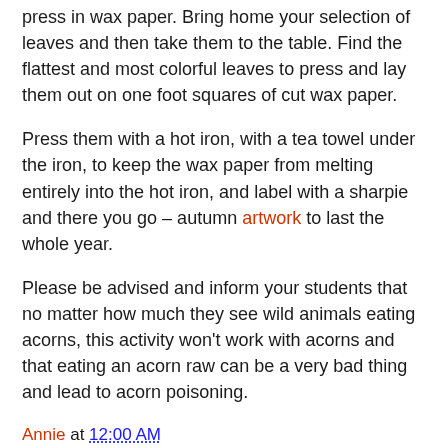press in wax paper. Bring home your selection of leaves and then take them to the table. Find the flattest and most colorful leaves to press and lay them out on one foot squares of cut wax paper.
Press them with a hot iron, with a tea towel under the iron, to keep the wax paper from melting entirely into the hot iron, and label with a sharpie and there you go – autumn artwork to last the whole year.
Please be advised and inform your students that no matter how much they see wild animals eating acorns, this activity won't work with acorns and that eating an acorn raw can be a very bad thing and lead to acorn poisoning.
Annie at 12:00 AM
Share
No comments:
Post a Comment